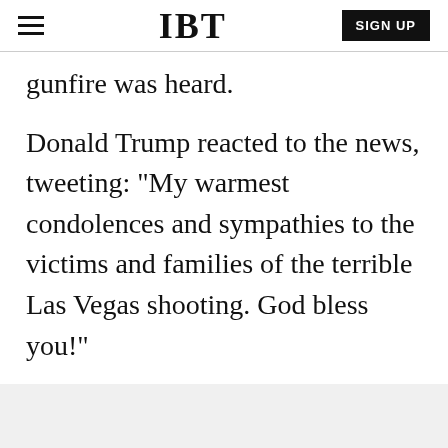IBT
gunfire was heard.
Donald Trump reacted to the news, tweeting: "My warmest condolences and sympathies to the victims and families of the terrible Las Vegas shooting. God bless you!"